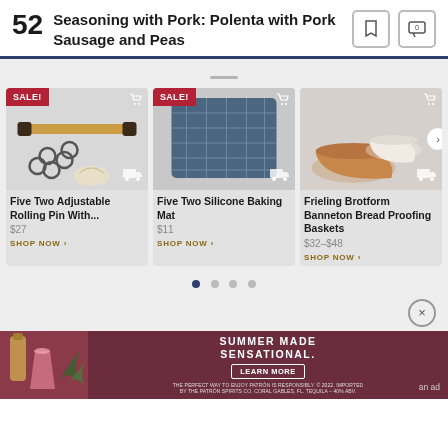52 Seasoning with Pork: Polenta with Pork Sausage and Peas
[Figure (photo): Product image: Five Two Adjustable Rolling Pin with rings and drawstring bag, SALE badge, shopping cart icon, delivery icon]
Five Two Adjustable Rolling Pin With...
$27
SHOP NOW
[Figure (photo): Product image: Five Two Silicone Baking Mat (blue plaid/grid pattern), SALE badge, shopping cart icon, delivery icon]
Five Two Silicone Baking Mat
$11
SHOP NOW
[Figure (photo): Product image: Frieling Brotform Banneton Bread Proofing Baskets (wooden and ceramic bowls), shopping cart icon, delivery icon, next arrow]
Frieling Brotform Banneton Bread Proofing Baskets
$32–$48
SHOP NOW
[Figure (infographic): Patron tequila summer advertisement banner: drinks image on left, SUMMER MADE SENSATIONAL headline, LEARN MORE button, disclaimer text, 'an ad' label]